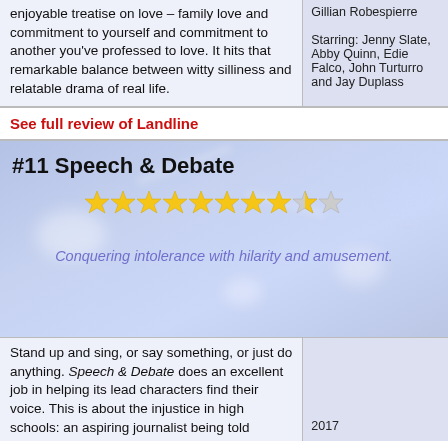enjoyable treatise on love – family love and commitment to yourself and commitment to another you've professed to love. It hits that remarkable balance between witty silliness and relatable drama of real life.
Gillian Robespierre

Starring: Jenny Slate, Abby Quinn, Edie Falco, John Turturro and Jay Duplass
See full review of Landline
#11 Speech & Debate
[Figure (other): Star rating: 8.5 out of 10 stars (8 filled, 1 half, 1 empty)]
Conquering intolerance with hilarity and amusement.
Stand up and sing, or say something, or just do anything. Speech & Debate does an excellent job in helping its lead characters find their voice. This is about the injustice in high schools: an aspiring journalist being told
2017